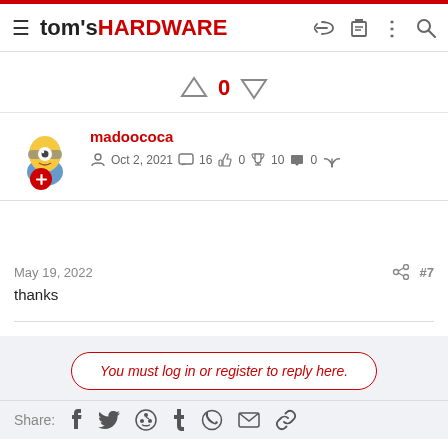tom's HARDWARE
0
madoococa
Oct 2, 2021  16  0  10  0
May 19, 2022  #7
thanks
You must log in or register to reply here.
Share: